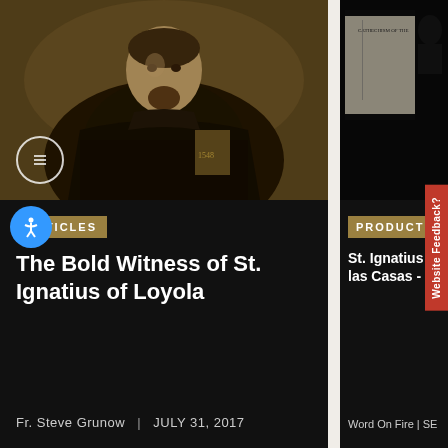[Figure (photo): Painted portrait of St. Ignatius of Loyola in dark clerical robes against a murky background, holding what appears to be a book]
ARTICLES
The Bold Witness of St. Ignatius of Loyola
Fr. Steve Grunow | JULY 31, 2017
[Figure (photo): Book cover partially visible - appears to be a religious text related to St. Ignatius and las Casas from Word On Fire]
PRODUCT
St. Ignatius... las Casas -
Word On Fire | SE